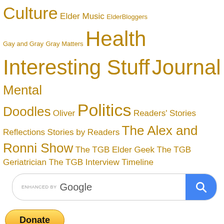Culture Elder Music ElderBloggers Gay and Gray Gray Matters Health Interesting Stuff Journal Mental Doodles Oliver Politics Readers' Stories Reflections Stories by Readers The Alex and Ronni Show The TGB Elder Geek The TGB Geriatrician The TGB Interview Timeline
[Figure (screenshot): Google Enhanced Search bar with blue search button]
[Figure (screenshot): PayPal Donate button with credit card icons (Visa, Mastercard, Maestro, Amex, Discover, JCB)]